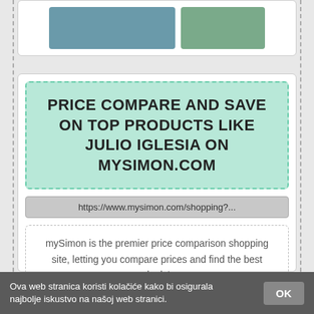[Figure (screenshot): Top card with two colored image placeholders — teal/blue and green rectangles]
PRICE COMPARE AND SAVE ON TOP PRODUCTS LIKE JULIO IGLESIA ON MYSIMON.COM
https://www.mysimon.com/shopping?...
mySimon is the premier price comparison shopping site, letting you compare prices and find the best deals!
[Figure (screenshot): ONLINE button in dark slate/grey rounded rectangle inside a light blue-grey card]
Ova web stranica koristi kolačiće kako bi osigurala najbolje iskustvo na našoj web stranici.